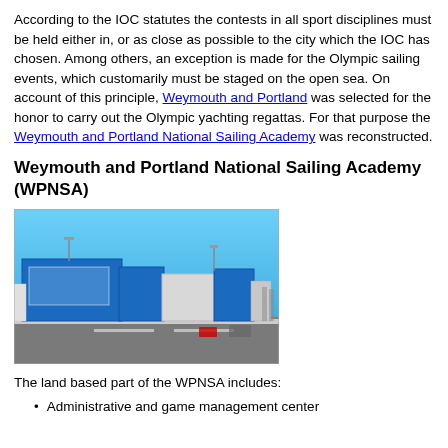According to the IOC statutes the contests in all sport disciplines must be held either in, or as close as possible to the city which the IOC has chosen. Among others, an exception is made for the Olympic sailing events, which customarily must be staged on the open sea. On account of this principle, Weymouth and Portland was selected for the honor to carry out the Olympic yachting regattas. For that purpose the Weymouth and Portland National Sailing Academy was reconstructed.
Weymouth and Portland National Sailing Academy (WPNSA)
[Figure (photo): Photo of the Weymouth and Portland National Sailing Academy building — blue modern structures under a clear blue sky with a road in the foreground]
The land based part of the WPNSA includes:
Administrative and game management center